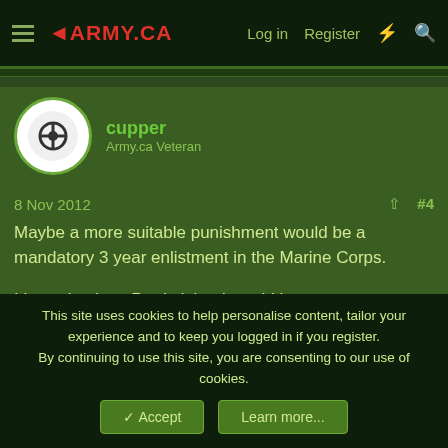ARMY.CA — Log in  Register
cupper
Army.ca Veteran
8 Nov 2012  #4
Maybe a more suitable punishment would be a mandatory 3 year enlistment in the Marine Corps.

I know basic at Parris Island would be an even more hellish experience for those 4 arse wipes.
jollyjacktar
Guest
This site uses cookies to help personalise content, tailor your experience and to keep you logged in if you register.
By continuing to use this site, you are consenting to our use of cookies.